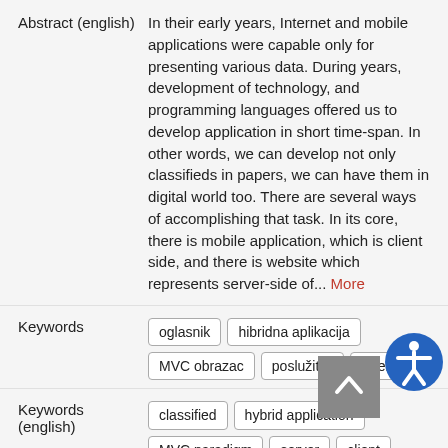Abstract (english): In their early years, Internet and mobile applications were capable only for presenting various data. During years, development of technology, and programming languages offered us to develop application in short time-span. In other words, we can develop not only classifieds in papers, we can have them in digital world too. There are several ways of accomplishing that task. In its core, there is mobile application, which is client side, and there is website which represents server-side of... More
Keywords: oglasnik, hibridna aplikacija, MVC obrazac, poslužitelj, klijent
Keywords (english): classified, hybrid application, MVC paradigm, server, client
Language: croatian